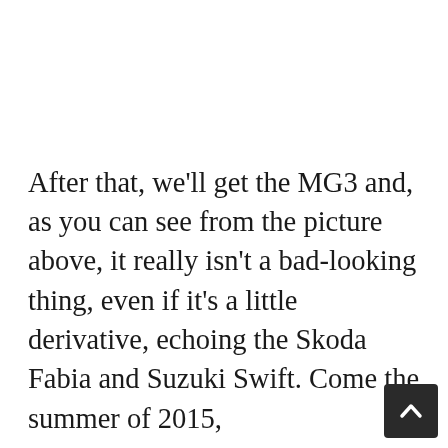After that, we'll get the MG3 and, as you can see from the picture above, it really isn't a bad-looking thing, even if it's a little derivative, echoing the Skoda Fabia and Suzuki Swift. Come the summer of 2015, MG...